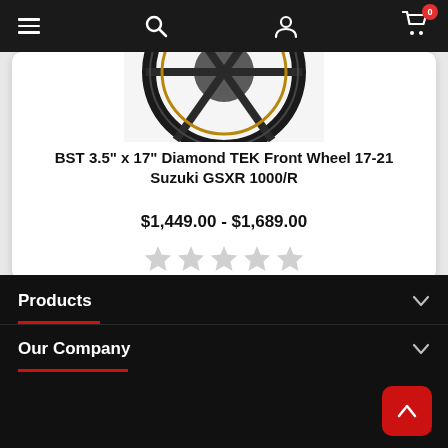Navigation bar with hamburger menu, search, account, and cart (0 items)
[Figure (photo): Partial view of a black motorcycle carbon fiber wheel (BST Diamond TEK) shown at the top of a product card]
BST 3.5" x 17" Diamond TEK Front Wheel 17-21 Suzuki GSXR 1000/R
$1,449.00 - $1,689.00
[Figure (other): 5 empty/unfilled star rating icons (grey)]
Back to top ∧
Products
Our Company